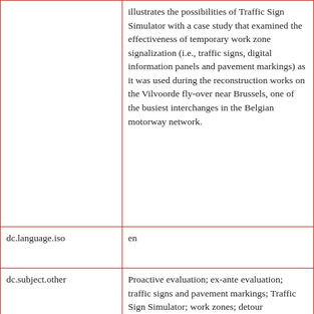| Field | Value |
| --- | --- |
|  | illustrates the possibilities of Traffic Sign Simulator with a case study that examined the effectiveness of temporary work zone signalization (i.e., traffic signs, digital information panels and pavement markings) as it was used during the reconstruction works on the Vilvoorde fly-over near Brussels, one of the busiest interchanges in the Belgian motorway network. |
| dc.language.iso | en |
| dc.subject.other | Proactive evaluation; ex-ante evaluation; traffic signs and pavement markings; Traffic Sign Simulator; work zones; detour |
| dc.title | Pro active evaluation of traffic... |